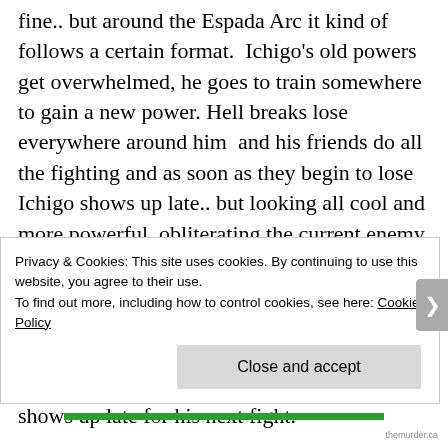fine.. but around the Espada Arc it kind of follows a certain format.  Ichigo's old powers get overwhelmed, he goes to train somewhere  to gain a new power. Hell breaks lose everywhere around him  and his friends do all the fighting and as soon as they begin to lose Ichigo shows up late.. but looking all cool and more powerful, obliterating the current enemy.
Then mid fight we travel to an alternate universe for a few weeks,  return to see him finish off this enemy before he is overwhelmed by the next enemy or encounters a new problem.. he goes back to training  and shows up late for his next fight.
Privacy & Cookies: This site uses cookies. By continuing to use this website, you agree to their use.
To find out more, including how to control cookies, see here: Cookie Policy
Close and accept
themurder.ca